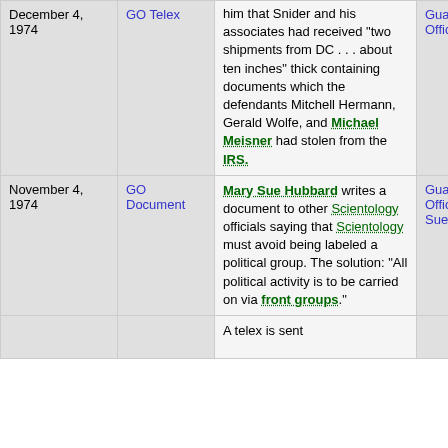| Date | Type | Description | Source |
| --- | --- | --- | --- |
| December 4, 1974 | GO Telex | him that Snider and his associates had received "two shipments from DC . . . about ten inches" thick containing documents which the defendants Mitchell Hermann, Gerald Wolfe, and Michael Meisner had stolen from the IRS. | Guardian Office |
| November 4, 1974 | GO Document | Mary Sue Hubbard writes a document to other Scientology officials saying that Scientology must avoid being labeled a political group. The solution: "All political activity is to be carried on via front groups." | Guardian Office, Mary Sue Hubbard |
|  |  | A telex is sent |  |